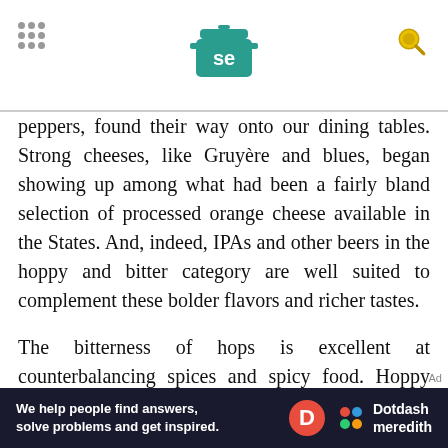Serious Eats logo and navigation
peppers, found their way onto our dining tables. Strong cheeses, like Gruyère and blues, began showing up among what had been a fairly bland selection of processed orange cheese available in the States. And, indeed, IPAs and other beers in the hoppy and bitter category are well suited to complement these bolder flavors and richer tastes.
The bitterness of hops is excellent at counterbalancing spices and spicy food. Hoppy and bitter beers are also great when paired with mouth-coating fats: They're made to cut through cream sauces, cheese, fried foods, and bacon.
We help people find answers, solve problems and get inspired. Dotdash meredith